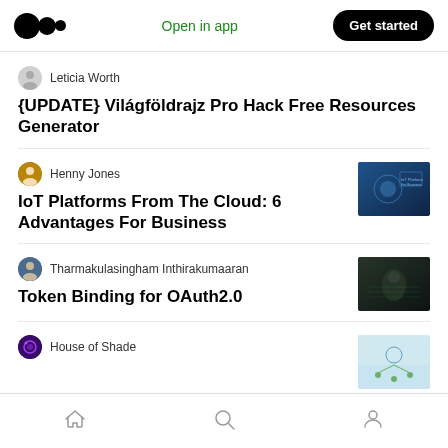Open in app | Get started
Leticia Worth
{UPDATE} Világföldrajz Pro Hack Free Resources Generator
Henny Jones
IoT Platforms From The Cloud: 6 Advantages For Business
[Figure (photo): Thumbnail image for IoT Platforms article showing person touching digital screen]
Tharmakulasingham Inthirakumaaran
Token Binding for OAuth2.0
[Figure (photo): Thumbnail image for Token Binding article showing dark hacker figure]
House of Shade
[Figure (photo): Thumbnail image partially visible for House of Shade article]
Home | Search | Profile